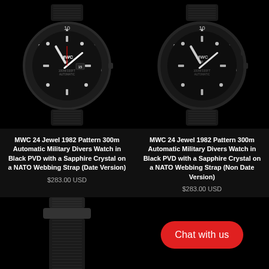[Figure (photo): MWC 24 Jewel 1982 Pattern 300m Automatic Military Divers Watch in Black PVD with NATO Webbing Strap (Date Version) - product photo on black background]
[Figure (photo): MWC 24 Jewel 1982 Pattern 300m Automatic Military Divers Watch in Black PVD with NATO Webbing Strap (Non Date Version) - product photo on black background]
MWC 24 Jewel 1982 Pattern 300m Automatic Military Divers Watch in Black PVD with a Sapphire Crystal on a NATO Webbing Strap (Date Version)
$283.00 USD
MWC 24 Jewel 1982 Pattern 300m Automatic Military Divers Watch in Black PVD with a Sapphire Crystal on a NATO Webbing Strap (Non Date Version)
$283.00 USD
[Figure (photo): Close-up of watch strap and case bottom - partial product photo]
[Figure (other): Chat with us button - red rounded rectangle with white text]
[Figure (photo): Close-up of second watch strap and case - partial product photo]